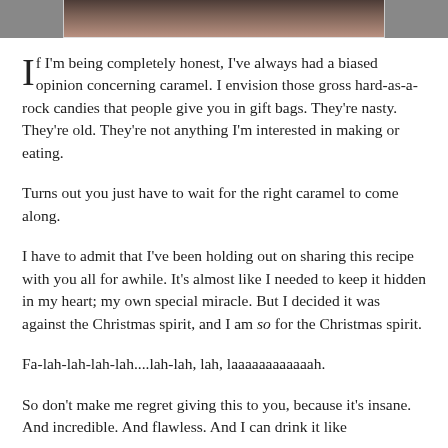[Figure (photo): Partial photo at top of page, showing what appears to be a food item, cropped so only the bottom portion is visible.]
If I'm being completely honest, I've always had a biased opinion concerning caramel. I envision those gross hard-as-a-rock candies that people give you in gift bags. They're nasty. They're old. They're not anything I'm interested in making or eating.
Turns out you just have to wait for the right caramel to come along.
I have to admit that I've been holding out on sharing this recipe with you all for awhile. It's almost like I needed to keep it hidden in my heart; my own special miracle. But I decided it was against the Christmas spirit, and I am so for the Christmas spirit.
Fa-lah-lah-lah-lah....lah-lah, lah, laaaaaaaaaaaah.
So don't make me regret giving this to you, because it's insane. And incredible. And flawless. And I can drink it like